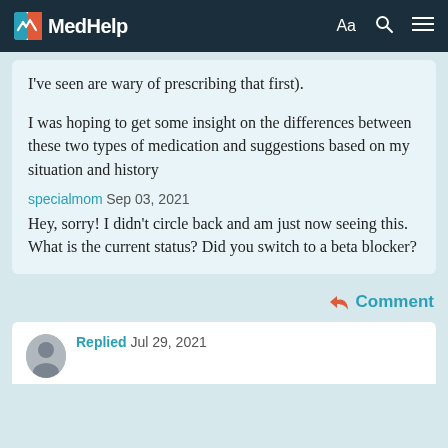MedHelp — navigation bar with Aa, search, and menu icons
I've seen are wary of prescribing that first).
I was hoping to get some insight on the differences between these two types of medication and suggestions based on my situation and history
specialmom Sep 03, 2021
Hey, sorry!  I didn't circle back and am just now seeing this.  What is the current status? Did you switch to a beta blocker?
↩ Comment
Replied Jul 29, 2021